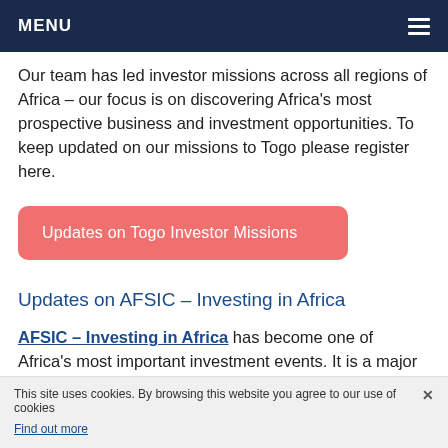MENU
Our team has led investor missions across all regions of Africa – our focus is on discovering Africa's most prospective business and investment opportunities. To keep updated on our missions to Togo please register here.
Updates on Togo Investor Missions
Updates on AFSIC – Investing in Africa
AFSIC – Investing in Africa has become one of Africa's most important investment events. It is a major conduit of investment into Africa and is an ideal place to meet business and investment opportunities from countries like Togo and elsewhere in Africa. The event
This site uses cookies. By browsing this website you agree to our use of cookies. Find out more